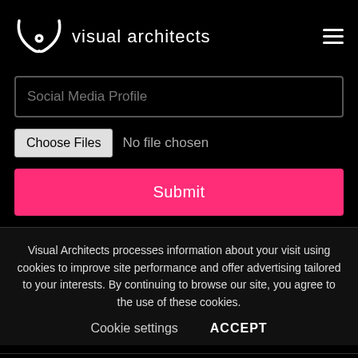[Figure (logo): Visual Architects logo with stylized VA monogram and text 'visual architects' on black background]
Social Media Profile
Choose Files  No file chosen
Submit
Visual Architects processes information about your visit using cookies to improve site performance and offer advertising tailored to your interests. By continuing to browse our site, you agree to the use of these cookies.
Cookie settings   ACCEPT